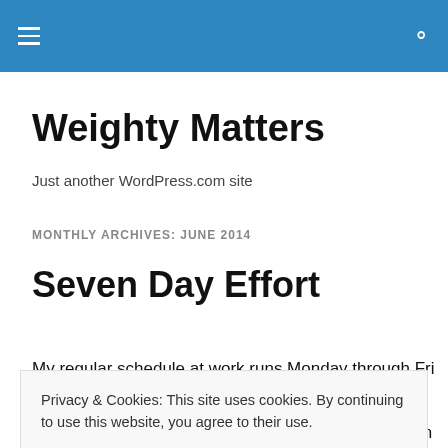Weighty Matters – navigation and search bar
Weighty Matters
Just another WordPress.com site
MONTHLY ARCHIVES: JUNE 2014
Seven Day Effort
My regular schedule at work runs Monday through Friday...
Privacy & Cookies: This site uses cookies. By continuing to use this website, you agree to their use.
To find out more, including how to control cookies, see here: Cookie Policy
a week's worth of work, not only in my job, but also in my